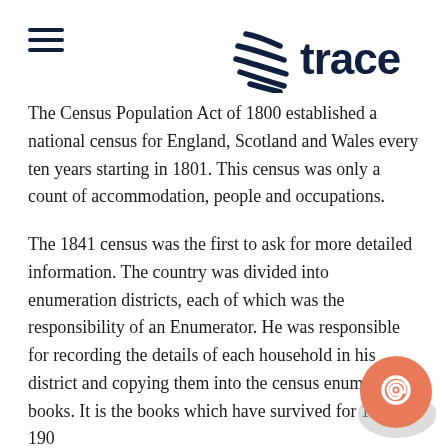trace
The Census Population Act of 1800 established a national census for England, Scotland and Wales every ten years starting in 1801. This census was only a count of accommodation, people and occupations.
The 1841 census was the first to ask for more detailed information. The country was divided into enumeration districts, each of which was the responsibility of an Enumerator. He was responsible for recording the details of each household in his district and copying them into the census enumerators' books. It is the books which have survived for 1841 to 1901.
You will find what appears to be a lot of